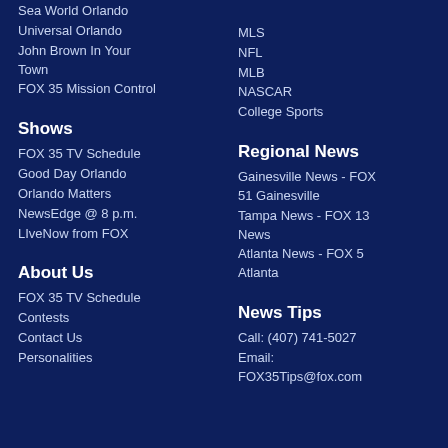Sea World Orlando
Universal Orlando
John Brown In Your Town
FOX 35 Mission Control
MLS
NFL
MLB
NASCAR
College Sports
Shows
FOX 35 TV Schedule
Good Day Orlando
Orlando Matters
NewsEdge @ 8 p.m.
LIveNow from FOX
Regional News
Gainesville News - FOX 51 Gainesville
Tampa News - FOX 13 News
Atlanta News - FOX 5 Atlanta
About Us
FOX 35 TV Schedule
Contests
Contact Us
Personalities
News Tips
Call: (407) 741-5027
Email: FOX35Tips@fox.com